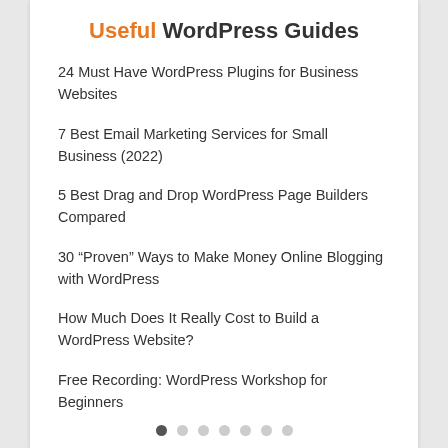Useful WordPress Guides
24 Must Have WordPress Plugins for Business Websites
7 Best Email Marketing Services for Small Business (2022)
5 Best Drag and Drop WordPress Page Builders Compared
30 “Proven” Ways to Make Money Online Blogging with WordPress
How Much Does It Really Cost to Build a WordPress Website?
Free Recording: WordPress Workshop for Beginners